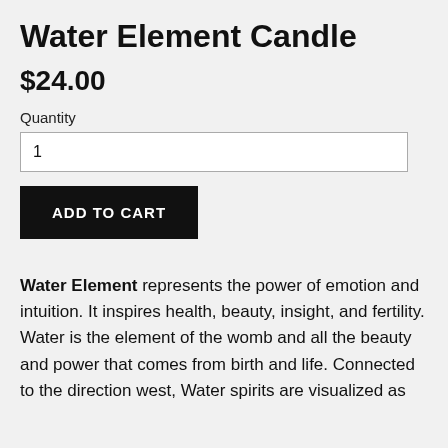Water Element Candle
$24.00
Quantity
1
ADD TO CART
Water Element represents the power of emotion and intuition. It inspires health, beauty, insight, and fertility. Water is the element of the womb and all the beauty and power that comes from birth and life. Connected to the direction west, Water spirits are visualized as